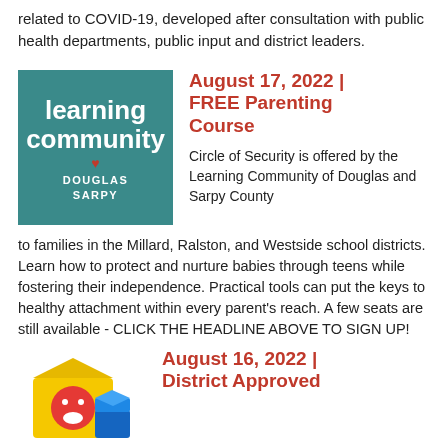related to COVID-19, developed after consultation with public health departments, public input and district leaders.
[Figure (logo): Learning Community Douglas Sarpy teal logo with heart icon]
August 17, 2022 | FREE Parenting Course
Circle of Security is offered by the Learning Community of Douglas and Sarpy County to families in the Millard, Ralston, and Westside school districts. Learn how to protect and nurture babies through teens while fostering their independence. Practical tools can put the keys to healthy attachment within every parent's reach. A few seats are still available - CLICK THE HEADLINE ABOVE TO SIGN UP!
[Figure (illustration): Colorful toy blocks illustration in yellow, red and blue]
August 16, 2022 | District Approved